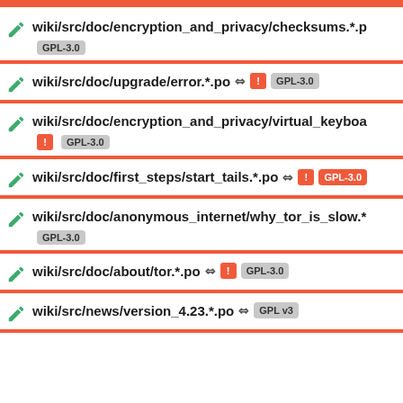wiki/src/doc/encryption_and_privacy/checksums.*.p GPL-3.0
wiki/src/doc/upgrade/error.*.po ↩ ! GPL-3.0
wiki/src/doc/encryption_and_privacy/virtual_keyboa ! GPL-3.0
wiki/src/doc/first_steps/start_tails.*.po ↩ ! GPL-3.0
wiki/src/doc/anonymous_internet/why_tor_is_slow.* GPL-3.0
wiki/src/doc/about/tor.*.po ↩ ! GPL-3.0
wiki/src/news/version_4.23.*.po ↩ GPL v3